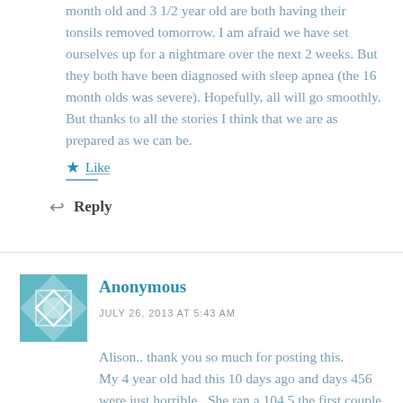month old and 3 1/2 year old are both having their tonsils removed tomorrow. I am afraid we have set ourselves up for a nightmare over the next 2 weeks. But they both have been diagnosed with sleep apnea (the 16 month olds was severe). Hopefully, all will go smoothly. But thanks to all the stories I think that we are as prepared as we can be.
Like
Reply
Anonymous
JULY 26, 2013 AT 5:43 AM
Alison.. thank you so much for posting this. My 4 year old had this 10 days ago and days 456 were just horrible.. She ran a 104.5 the first couple